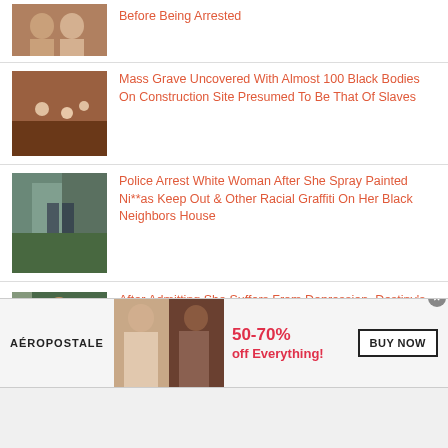[Figure (photo): Partial news item thumbnail at top — two faces]
Before Being Arrested
[Figure (photo): Aerial view of excavation site with red soil and workers]
Mass Grave Uncovered With Almost 100 Black Bodies On Construction Site Presumed To Be That Of Slaves
[Figure (photo): Police arresting a person outside a house]
Police Arrest White Woman After She Spray Painted Ni**as Keep Out & Other Racial Graffiti On Her Black Neighbors House
[Figure (photo): Woman with long dark hair outdoors]
After Admitting She Suffers From Depression, Destiny's Child's Michelle
[Figure (infographic): Aeropostale advertisement — 50-70% off Everything, BUY NOW button, two models photographed]